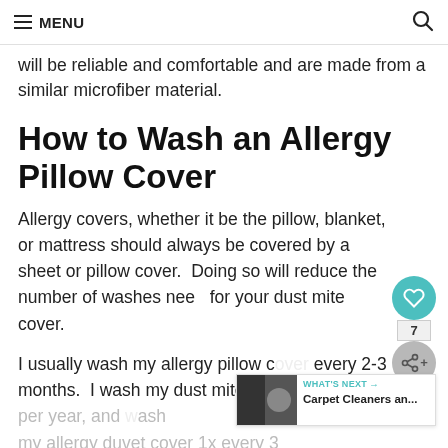≡ MENU
will be reliable and comfortable and are made from a similar microfiber material.
How to Wash an Allergy Pillow Cover
Allergy covers, whether it be the pillow, blanket, or mattress should always be covered by a sheet or pillow cover.  Doing so will reduce the number of washes needed for your dust mite cover.
I usually wash my allergy pillow cover every 2-3 months.  I wash my dust mite mattress cover 2-3x per year, and wash my allergy duvet cover 1x every 3